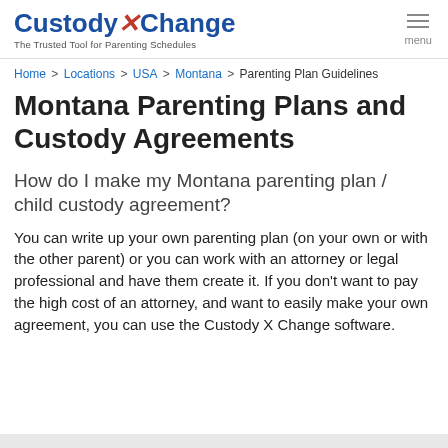CustodyXChange — The Trusted Tool for Parenting Schedules
Home > Locations > USA > Montana > Parenting Plan Guidelines
Montana Parenting Plans and Custody Agreements
How do I make my Montana parenting plan / child custody agreement?
You can write up your own parenting plan (on your own or with the other parent) or you can work with an attorney or legal professional and have them create it. If you don't want to pay the high cost of an attorney, and want to easily make your own agreement, you can use the Custody X Change software.